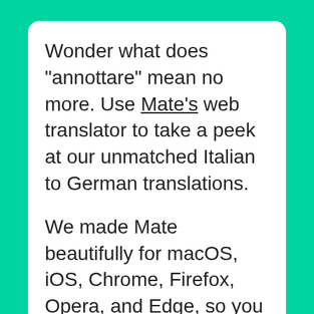Wonder what does "annottare" mean no more. Use Mate's web translator to take a peek at our unmatched Italian to German translations.
We made Mate beautifully for macOS, iOS, Chrome, Firefox, Opera, and Edge, so you can translate anywhere there's text. No more app, browser tab switching, or copy-pasting.
The most advanced machine translation power right where you need it. Effortlessly translate